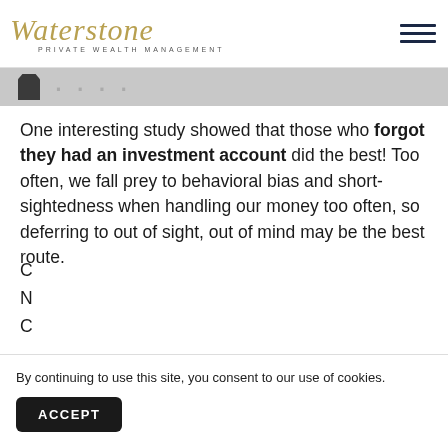Waterstone Private Wealth Management
[Figure (illustration): Partial decorative image strip with silhouette icon]
One interesting study showed that those who forgot they had an investment account did the best! Too often, we fall prey to behavioral bias and short-sightedness when handling our money too often, so deferring to out of sight, out of mind may be the best route.
By continuing to use this site, you consent to our use of cookies.
ACCEPT